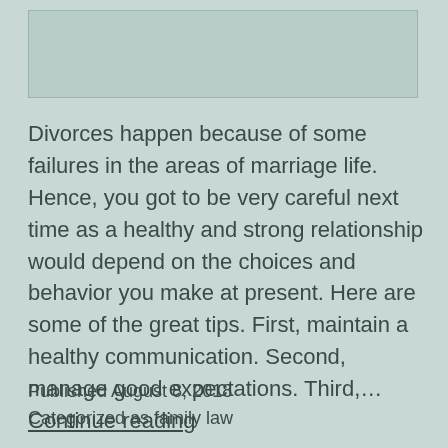[Figure (other): Image placeholder with light teal/green background and border at the top of the page]
Divorces happen because of some failures in the areas of marriage life. Hence, you got to be very careful next time as a healthy and strong relationship would depend on the choices and behavior you make at present. Here are some of the great tips. First, maintain a healthy communication. Second, manage good expectations. Third,… Continue reading
Published August 8, 2018
Categorized as family law